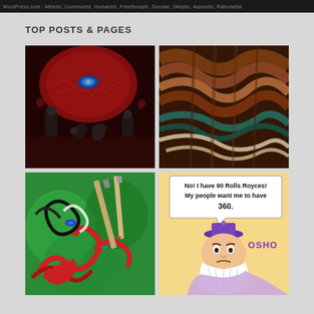WordPress.com - Atheist, Communist, Humanist, Freethought, Secular, Skeptic, Agnostic, Rationalist
TOP POSTS & PAGES
[Figure (illustration): Surreal dark painting of robed figures bowing before a large red alien creature with a glowing blue eye]
[Figure (illustration): Abstract swirling painting with brown, red, teal and cream wave-like forms suggesting a face or figure]
[Figure (illustration): Colorful abstract painting with swirling forms, paint brushes, red hands, tentacles on green background]
[Figure (illustration): Cartoon of OSHO (Rajneesh) as old wizard with speech bubble: No! I have 90 Rolls Royces! My people want me to have 360.]